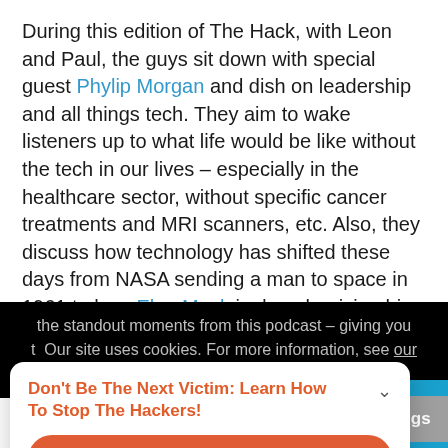During this edition of The Hack, with Leon and Paul, the guys sit down with special guest Phylip Morgan and dish on leadership and all things tech. They aim to wake listeners up to what life would be like without the tech in our lives – especially in the healthcare sector, without specific cancer treatments and MRI scanners, etc. Also, they discuss how technology has shifted these days from NASA sending a man to space in 1961 to how Elon Musk is decarbonising his Tesla vehicles in 2021, etc. This blog post aims to capture the standout moments from this podcast – giving you t...
Our site uses cookies. For more information, see our cookie policy.
Don't Be The Next Victim: Learn How To Stop The Hackers!
Register Now ! NOW
7 more sessions ›
Powered by eWebinar